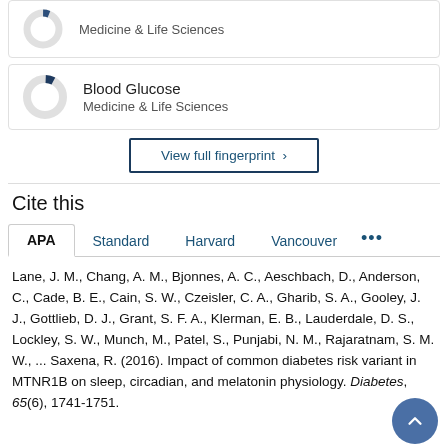[Figure (donut-chart): Partially filled donut chart (small dark blue segment, mostly gray), representing a fingerprint topic concept related to Medicine & Life Sciences]
Medicine & Life Sciences
[Figure (donut-chart): Partially filled donut chart with small dark blue segment at top, mostly gray, representing Blood Glucose in Medicine & Life Sciences]
Blood Glucose
Medicine & Life Sciences
View full fingerprint >
Cite this
APA  Standard  Harvard  Vancouver  ...
Lane, J. M., Chang, A. M., Bjonnes, A. C., Aeschbach, D., Anderson, C., Cade, B. E., Cain, S. W., Czeisler, C. A., Gharib, S. A., Gooley, J. J., Gottlieb, D. J., Grant, S. F. A., Klerman, E. B., Lauderdale, D. S., Lockley, S. W., Munch, M., Patel, S., Punjabi, N. M., Rajaratnam, S. M. W., ... Saxena, R. (2016). Impact of common diabetes risk variant in MTNR1B on sleep, circadian, and melatonin physiology. Diabetes, 65(6), 1741-1751.